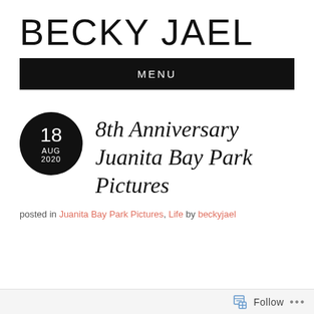BECKY JAEL
MENU
8th Anniversary Juanita Bay Park Pictures
posted in Juanita Bay Park Pictures, Life by beckyjael
Follow ...